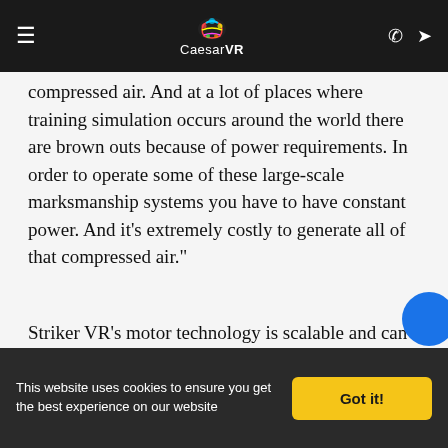CaesarVR
compressed air. And at a lot of places where training simulation occurs around the world there are brown outs because of power requirements. In order to operate some of these large-scale marksmanship systems you have to have constant power. And it’s extremely costly to generate all of that compressed air.”
Striker VR’s motor technology is scalable and can go into every weapon type, meaning it can create training weapons of all calibers that will deliver more recoil than pneumatic systems. And since the guns themselves operate in virtual reality, it adds another layer of safety. Video games such as the popular Call of Duty franchise already praised for their level of realism and have already found uses for real-world military training. Coupling this with a device that gi…
This website uses cookies to ensure you get the best experience on our website